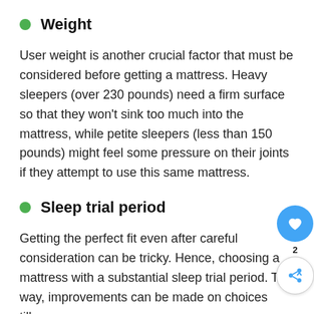Weight
User weight is another crucial factor that must be considered before getting a mattress. Heavy sleepers (over 230 pounds) need a firm surface so that they won't sink too much into the mattress, while petite sleepers (less than 150 pounds) might feel some pressure on their joints if they attempt to use this same mattress.
Sleep trial period
Getting the perfect fit even after careful consideration can be tricky. Hence, choosing a mattress with a substantial sleep trial period. T' way, improvements can be made on choices till…